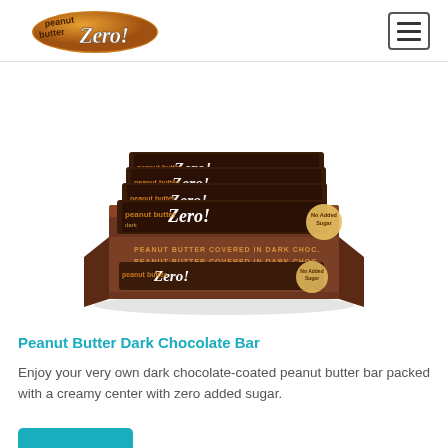peanut butter Zero!
[Figure (photo): A display box of Peanut Butter Zero! dark chocolate bars stacked in a brown cardboard retail box, with 'No Added Sugar' badges visible on the bar wrappers.]
Peanut Butter Dark Chocolate Bar
Enjoy your very own dark chocolate-coated peanut butter bar packed with a creamy center with zero added sugar.